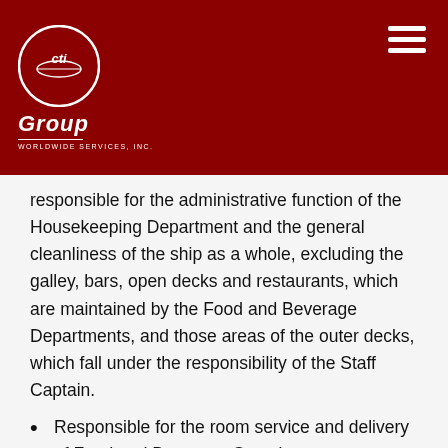[Figure (logo): CTI Group Worldwide Services Inc. logo — white circular emblem with stylized 'cti' letters on a dark red background, with 'Group' in italic white text below and 'Worldwide Services, Inc.' in small caps beneath]
responsible for the administrative function of the Housekeeping Department and the general cleanliness of the ship as a whole, excluding the galley, bars, open decks and restaurants, which are maintained by the Food and Beverage Departments, and those areas of the outer decks, which fall under the responsibility of the Staff Captain.
Responsible for the room service and delivery of Food and Beverage Guest's requests ensuring Company's standards.
Must meet daily with his/her Assistants